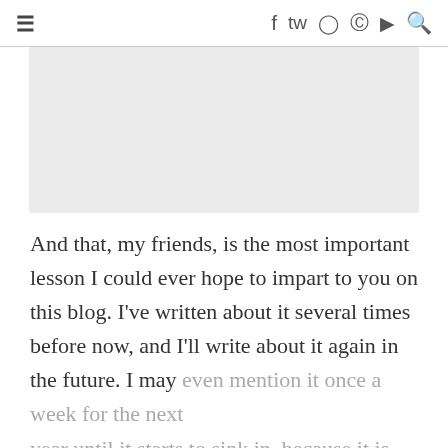≡  f  twitter  instagram  pinterest  youtube  search
[Figure (other): Gray placeholder image block]
And that, my friends, is the most important lesson I could ever hope to impart to you on this blog. I've written about it several times before now, and I'll write about it again in the future. I may even mention it once a week for the next year until it starts to sink in, because it is